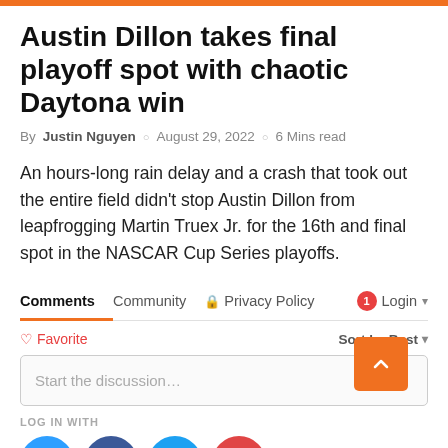Austin Dillon takes final playoff spot with chaotic Daytona win
By Justin Nguyen  ○  August 29, 2022  ○  6 Mins read
An hours-long rain delay and a crash that took out the entire field didn't stop Austin Dillon from leapfrogging Martin Truex Jr. for the 16th and final spot in the NASCAR Cup Series playoffs.
Comments  Community  🔒 Privacy Policy  1 Login
♡ Favorite  Sort by Best
Start the discussion…
LOG IN WITH
[Figure (infographic): Social login icons: Disqus (blue), Facebook (dark blue), Twitter (light blue), Google (red)]